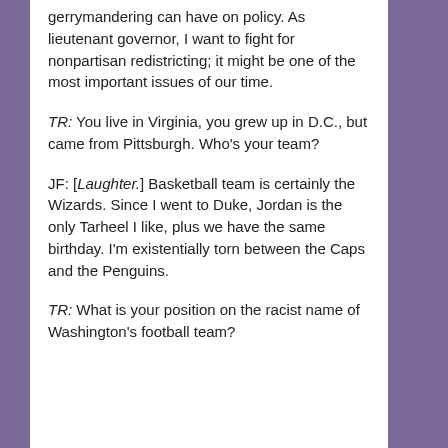gerrymandering can have on policy. As lieutenant governor, I want to fight for nonpartisan redistricting; it might be one of the most important issues of our time.
TR: You live in Virginia, you grew up in D.C., but came from Pittsburgh. Who's your team?
JF: [Laughter.] Basketball team is certainly the Wizards. Since I went to Duke, Jordan is the only Tarheel I like, plus we have the same birthday. I'm existentially torn between the Caps and the Penguins.
TR: What is your position on the racist name of Washington's football team?